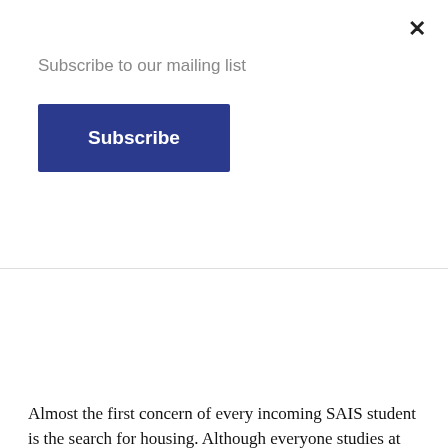Subscribe to our mailing list
Subscribe
[Figure (photo): Students in Bologna, Italy, looking at apartment ads posted on a wall outside the University of Bologna.]
Students in Bologna, Italy, scan the ads for apartments outside the University of Bologna.
Almost the first concern of every incoming SAIS student is the search for housing. Although everyone studies at the same school, students